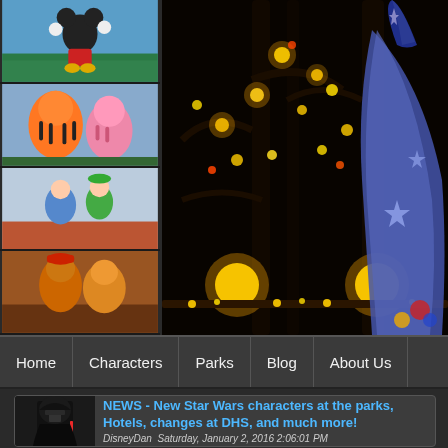[Figure (photo): Collage of Disney character photos: Mickey Mouse, Tigger and Piglet, Peter Pan and Wendy, Chip and Dale; plus large main image of Sorcerer Mickey with glowing lights display]
Home | Characters | Parks | Blog | About Us
[Figure (photo): Darth Vader character meet thumbnail for news article]
NEWS - New Star Wars characters at the parks, Hotels, changes at DHS, and much more!
DisneyDan  Saturday, January 2, 2016 2:06:01 PM